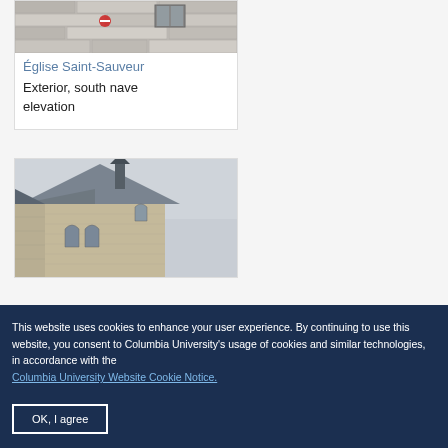[Figure (photo): Exterior photo of stone church wall, cropped at top showing masonry facade]
Église Saint-Sauveur Exterior, south nave elevation
[Figure (photo): Photo of a Gothic stone church exterior showing a gabled roof with a small turret/spire and pointed arch windows]
This website uses cookies to enhance your user experience. By continuing to use this website, you consent to Columbia University's usage of cookies and similar technologies, in accordance with the Columbia University Website Cookie Notice.